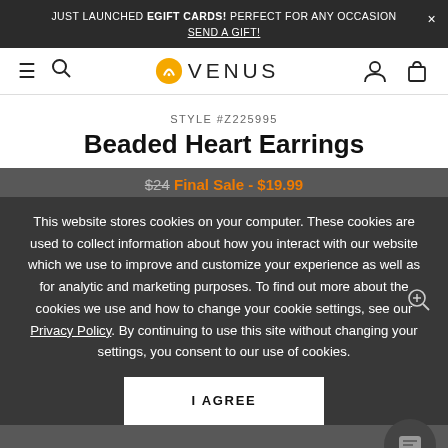JUST LAUNCHED EGIFT CARDS! PERFECT FOR ANY OCCASION × SEND A GIFT!
[Figure (logo): Venus brand logo with yellow circle icon and VENUS text]
STYLE #Z225995
Beaded Heart Earrings
$24 Final Sale - $19.99
This website stores cookies on your computer. These cookies are used to collect information about how you interact with our website which we use to improve and customize your experience as well as for analytic and marketing purposes. To find out more about the cookies we use and how to change your cookie settings, see our Privacy Policy. By continuing to use this site without changing your settings, you consent to our use of cookies.
I AGREE